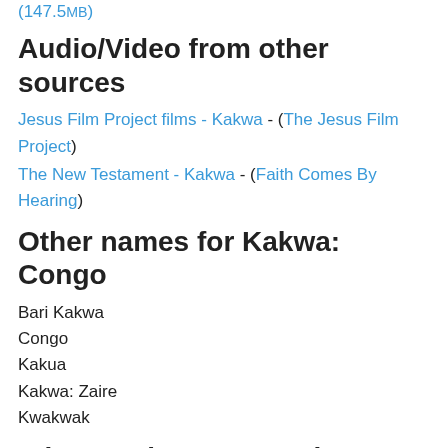(147.5MB)
Audio/Video from other sources
Jesus Film Project films - Kakwa - (The Jesus Film Project)
The New Testament - Kakwa - (Faith Comes By Hearing)
Other names for Kakwa: Congo
Bari Kakwa
Congo
Kakua
Kakwa: Zaire
Kwakwak
Where Kakwa: Congo is spoken
Congo, Democratic Republic of
Languages related to Kakwa: Congo